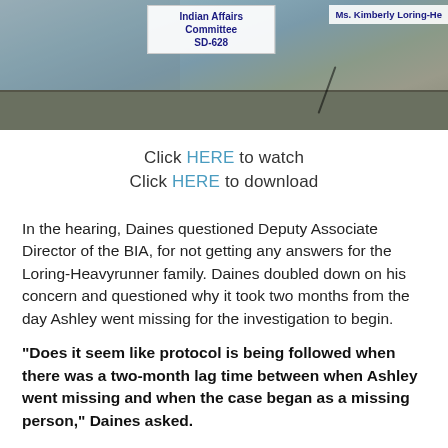[Figure (screenshot): Screenshot of a hearing room with a sign reading 'Indian Affairs Committee SD-628' and a nameplate partially visible reading 'Ms. Kimberly Loring-He...']
Click HERE to watch
Click HERE to download
In the hearing, Daines questioned Deputy Associate Director of the BIA, for not getting any answers for the Loring-Heavyrunner family. Daines doubled down on his concern and questioned why it took two months from the day Ashley went missing for the investigation to begin.
“Does it seem like protocol is being followed when there was a two-month lag time between when Ashley went missing and when the case began as a missing person,” Daines asked.